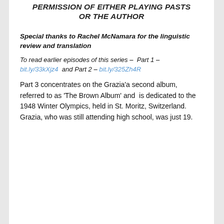PERMISSION OF EITHER PLAYING PASTS OR THE AUTHOR
Special thanks to Rachel McNamara for the linguistic review and translation
To read earlier episodes of this series –  Part 1 – bit.ly/33kXjz4  and Part 2 – bit.ly/325Zh4R
Part 3 concentrates on the Grazia’a second album, referred to as ‘The Brown Album’ and  is dedicated to the 1948 Winter Olympics, held in St. Moritz, Switzerland. Grazia, who was still attending high school, was just 19.